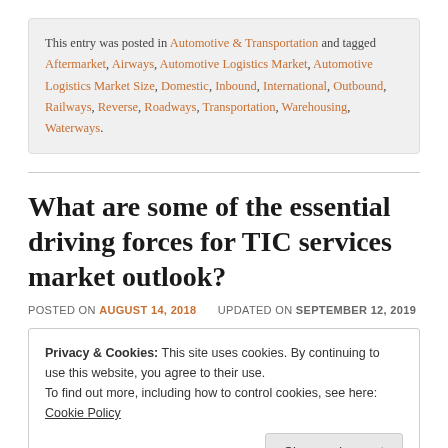This entry was posted in Automotive & Transportation and tagged Aftermarket, Airways, Automotive Logistics Market, Automotive Logistics Market Size, Domestic, Inbound, International, Outbound, Railways, Reverse, Roadways, Transportation, Warehousing, Waterways.
What are some of the essential driving forces for TIC services market outlook?
POSTED ON AUGUST 14, 2018   UPDATED ON SEPTEMBER 12, 2019
Privacy & Cookies: This site uses cookies. By continuing to use this website, you agree to their use. To find out more, including how to control cookies, see here: Cookie Policy
Close and accept